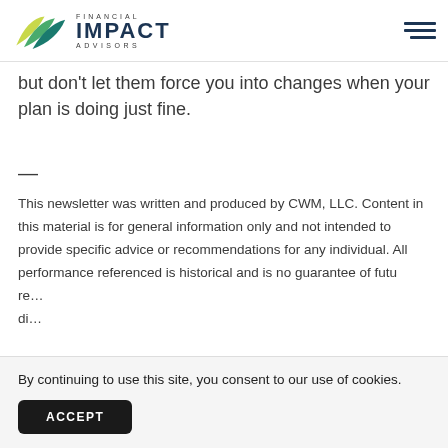Financial Impact Advisors
but don't let them force you into changes when your plan is doing just fine.
—
This newsletter was written and produced by CWM, LLC. Content in this material is for general information only and not intended to provide specific advice or recommendations for any individual. All performance referenced is historical and is no guarantee of future re… di… cl…
By continuing to use this site, you consent to our use of cookies.